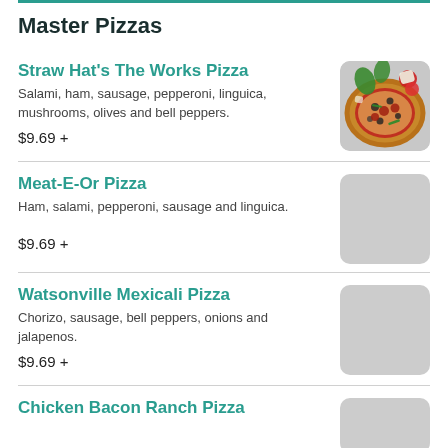Master Pizzas
Straw Hat's The Works Pizza
Salami, ham, sausage, pepperoni, linguica, mushrooms, olives and bell peppers.
$9.69 +
Meat-E-Or Pizza
Ham, salami, pepperoni, sausage and linguica.
$9.69 +
Watsonville Mexicali Pizza
Chorizo, sausage, bell peppers, onions and jalapenos.
$9.69 +
Chicken Bacon Ranch Pizza